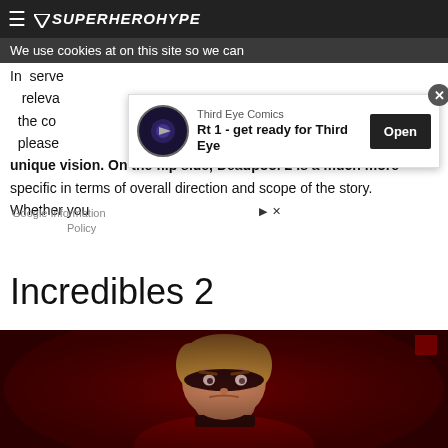SUPERHEROHYPE
We use cookies at on this site so we can
In serve
releva
the co
please
unique vision. On the flip side, Deadpool 2 is a much more specific in terms of overall direction and scope of the story. Whether you
[Figure (screenshot): Mobile app advertisement for Third Eye Comics - Rt 1 - get ready for Third Eye, with Open button]
Google Information Policy
Incredibles 2
[Figure (photo): Screenshot from Incredibles 2 movie showing Mr. Incredible character with black mask looking concerned, lit with red lighting]